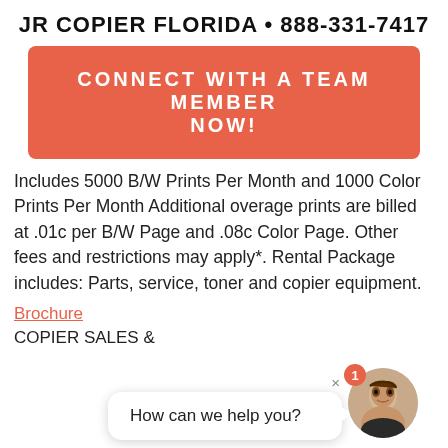JR COPIER FLORIDA • 888-331-7417
[Figure (other): Orange/coral CTA button with white text reading CONNECT WITH A TEAM MEMBER NOW!]
Includes 5000 B/W Prints Per Month and 1000 Color Prints Per Month Additional overage prints are billed at .01c per B/W Page and .08c Color Page. Other fees and restrictions may apply*. Rental Package includes: Parts, service, toner and copier equipment.
Brochure
COPIER SALES &
[Figure (other): Chat widget overlay with speech bubble saying 'How can we help you?' and a woman's avatar photo with a red notification badge showing 1]